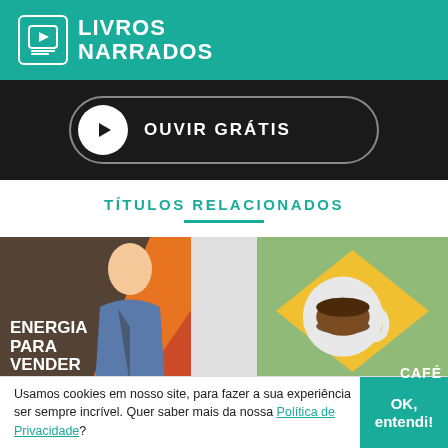LIVROS NARRADOS
[Figure (illustration): Dark background section with a play button labeled OUVIR GRÁTIS]
TÍTULOS RELACIONADOS
[Figure (illustration): Book cover: Energia Para Vender, orange background with man in suit]
[Figure (illustration): Book cover: Café (partial), green/teal background with coffee cup]
Usamos cookies em nosso site, para fazer a sua experiência ser sempre incrível. Quer saber mais da nossa Política de Privacidade?